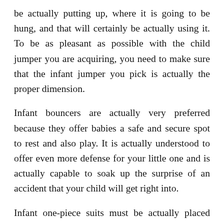be actually putting up, where it is going to be hung, and that will certainly be actually using it. To be as pleasant as possible with the child jumper you are acquiring, you need to make sure that the infant jumper you pick is actually the proper dimension.
Infant bouncers are actually very preferred because they offer babies a safe and secure spot to rest and also play. It is actually understood to offer even more defense for your little one and is actually capable to soak up the surprise of an accident that your child will get right into.
Infant one-piece suits must be actually placed away in a safe spot, not to be actually used around your baby, not to be left behind on your infant's baby crib. Little one slickers are usually certainly not produced of materials that can easily be actually cleaned along with various other child